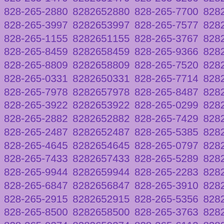828-265-6838 8282656838 828-265-1224 8282651224 828-265-1470 8282651470 828-265-3206 8282653206 828-265-2880 8282652880 828-265-7700 8282657700 828-265-3997 8282653997 828-265-7577 8282657577 828-265-1155 8282651155 828-265-3767 8282653767 828-265-8459 8282658459 828-265-9366 8282659366 828-265-8809 8282658809 828-265-7520 8282657520 828-265-0331 8282650331 828-265-7714 8282657714 828-265-7978 8282657978 828-265-8487 8282658487 828-265-3922 8282653922 828-265-0299 8282650299 828-265-2882 8282652882 828-265-7429 8282657429 828-265-2487 8282652487 828-265-5385 8282655385 828-265-4645 8282654645 828-265-0797 8282650797 828-265-7433 8282657433 828-265-5289 8282655289 828-265-9944 8282659944 828-265-2283 8282652283 828-265-6847 8282656847 828-265-3910 8282653910 828-265-2915 8282652915 828-265-5356 8282655356 828-265-8500 8282658500 828-265-3763 8282653763 828-265-9374 8282659374 828-265-6113 8282656113 828-265-2785 8282652785 828-265-4101 8282654101